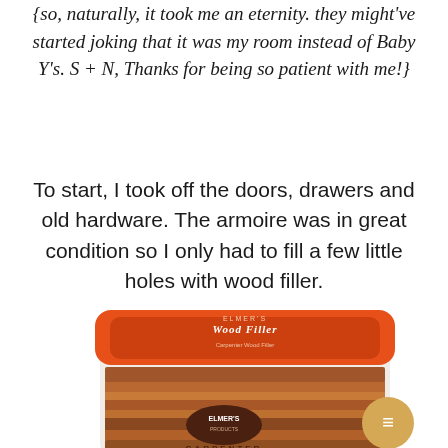{so, naturally, it took me an eternity. they might've started joking that it was my room instead of Baby Y's. S + N, Thanks for being so patient with me!}
To start, I took off the doors, drawers and old hardware. The armoire was in great condition so I only had to fill a few little holes with wood filler.
[Figure (photo): A container of Elmer's Carpenter Wood Filler product with an orange lid and wood-grain label, shown from above at a slight angle.]